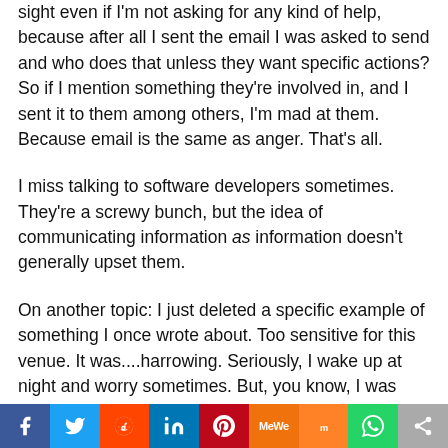sight even if I'm not asking for any kind of help, because after all I sent the email I was asked to send and who does that unless they want specific actions? So if I mention something they're involved in, and I sent it to them among others, I'm mad at them. Because email is the same as anger. That's all.
I miss talking to software developers sometimes. They're a screwy bunch, but the idea of communicating information as information doesn't generally upset them.
On another topic: I just deleted a specific example of something I once wrote about. Too sensitive for this venue. It was....harrowing. Seriously, I wake up at night and worry sometimes. But, you know, I was required to tell people, and did tell people, and then I was required to…
Social sharing bar: Facebook, Twitter, Reddit, LinkedIn, Pinterest, MeWe, Mix, WhatsApp, More